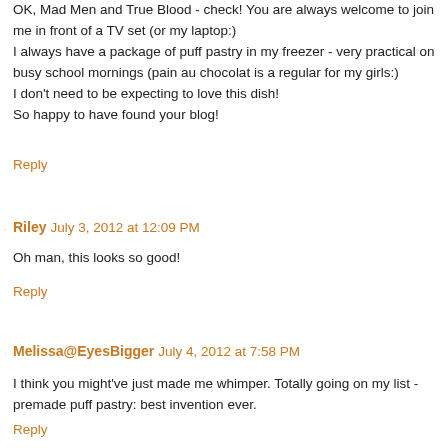OK, Mad Men and True Blood - check! You are always welcome to join me in front of a TV set (or my laptop:) I always have a package of puff pastry in my freezer - very practical on busy school mornings (pain au chocolat is a regular for my girls:) I don't need to be expecting to love this dish! So happy to have found your blog!
Reply
Riley  July 3, 2012 at 12:09 PM
Oh man, this looks so good!
Reply
Melissa@EyesBigger  July 4, 2012 at 7:58 PM
I think you might've just made me whimper. Totally going on my list - premade puff pastry: best invention ever.
Reply